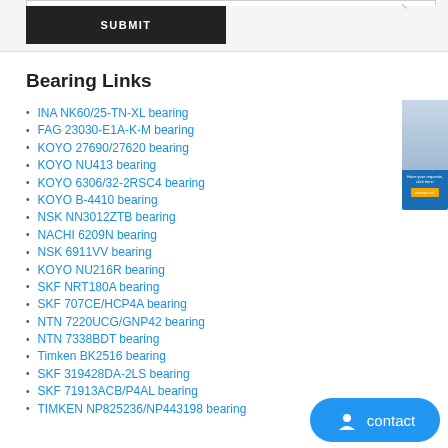Bearing Links
INA NK60/25-TN-XL bearing
FAG 23030-E1A-K-M bearing
KOYO 27690/27620 bearing
KOYO NU413 bearing
KOYO 6306/32-2RSC4 bearing
KOYO B-4410 bearing
NSK NN3012ZTB bearing
NACHI 6209N bearing
NSK 6911VV bearing
KOYO NU216R bearing
SKF NRT180A bearing
SKF 707CE/HCP4A bearing
NTN 7220UCG/GNP42 bearing
NTN 7338BDT bearing
Timken BK2516 bearing
SKF 319428DA-2LS bearing
SKF 71913ACB/P4AL bearing
TIMKEN NP825236/NP443198 bearing
[Figure (photo): Customer service representative with headset, sidebar advertisement]
[Figure (other): Blue contact button with chat icon and 'contact' label]